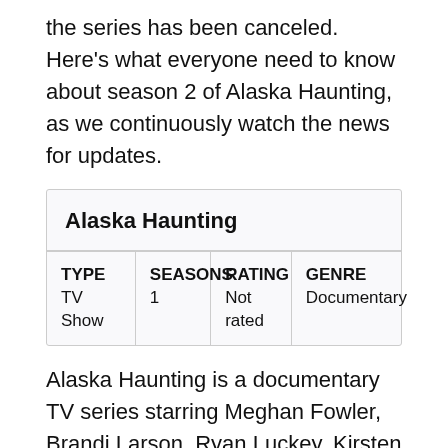the series has been canceled. Here's what everyone need to know about season 2 of Alaska Haunting, as we continuously watch the news for updates.
| TYPE | SEASONS | RATING | GENRE |
| --- | --- | --- | --- |
| Alaska Haunting |  |  |  |
| TV Show | 1 | Not rated | Documentary |
Alaska Haunting is a documentary TV series starring Meghan Fowler, Brandi Larson, Ryan Luckey, Kirsten Michelle . The series currently